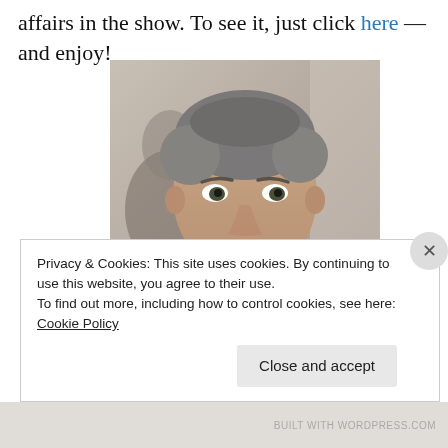affairs in the show. To see it, just click here — and enjoy!
[Figure (photo): Close-up photo of a middle-aged man with short grey hair speaking into a microphone, with another person partially visible behind him.]
Privacy & Cookies: This site uses cookies. By continuing to use this website, you agree to their use.
To find out more, including how to control cookies, see here: Cookie Policy
Close and accept